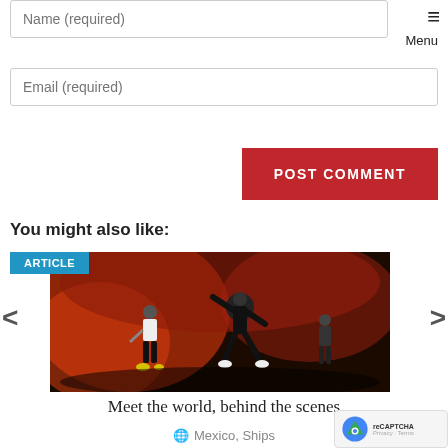Name (required)
Email (required)
POST COMMENT
You might also like:
[Figure (photo): Concert/performance scene with dancers on stage with red and orange smoke/fog lighting. Text badge 'ARTICLE' in cyan/teal overlaid top-left.]
Meet the world, behind the scenes
Mexico, Ships